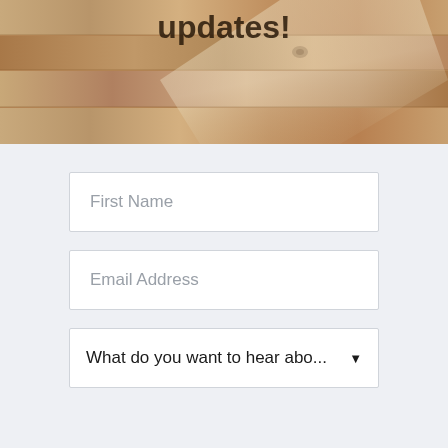[Figure (photo): Wooden flooring texture photo with partial text 'updates!' visible at top]
First Name
Email Address
What do you want to hear abo...